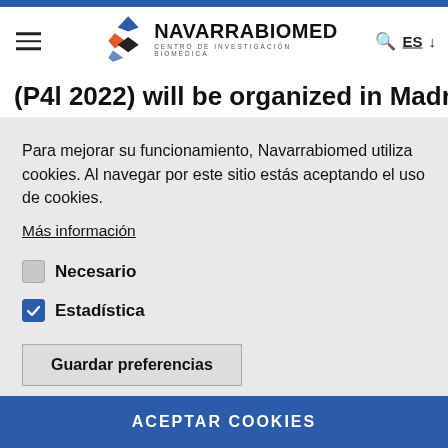[Figure (logo): Navarrabiomed Centro de Investigación Biomédica logo with diamond shapes in blue, red, and dark tones]
(P4l 2022) will be organized in Madrid
Para mejorar su funcionamiento, Navarrabiomed utiliza cookies. Al navegar por este sitio estás aceptando el uso de cookies.
Más información
Necesario
Estadística
Guardar preferencias
ACEPTAR COOKIES